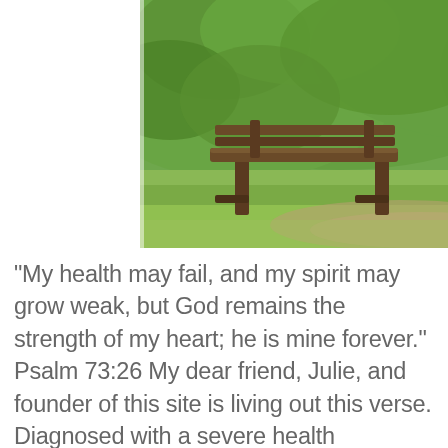[Figure (photo): Outdoor garden scene with a wooden bench on green grass, surrounded by lush green foliage and vibrant pink flowering bushes (likely hydrangeas) on the right side.]
“My health may fail, and my spirit may grow weak, but God remains the strength of my heart; he is mine forever.” Psalm 73:26 My dear friend, Julie, and founder of this site is living out this verse. Diagnosed with a severe health prognosis, she continues to exhibit peace and joy